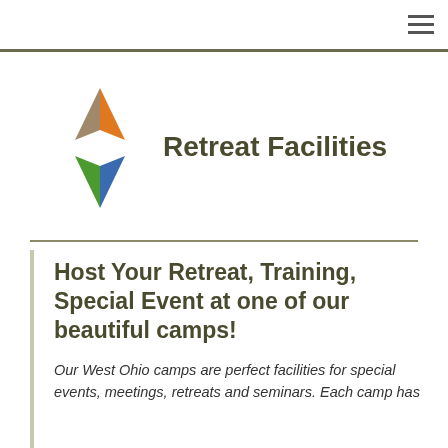≡
[Figure (logo): Four-pointed star/cross logo made of four colored triangular segments: tan/brown top, orange top-right, green bottom-left, blue bottom-right]
Retreat Facilities
Host Your Retreat, Training, Special Event at one of our beautiful camps!
Our West Ohio camps are perfect facilities for special events, meetings, retreats and seminars. Each camp has